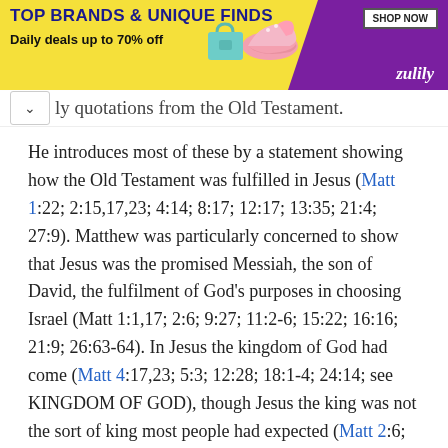[Figure (other): Zulily advertisement banner with yellow and purple background, shoes image, 'TOP BRANDS & UNIQUE FINDS', 'Daily deals up to 70% off', SHOP NOW button, and Zulily logo]
ly quotations from the Old Testament.
He introduces most of these by a statement showing how the Old Testament was fulfilled in Jesus (Matt 1:22; 2:15,17,23; 4:14; 8:17; 12:17; 13:35; 21:4; 27:9). Matthew was particularly concerned to show that Jesus was the promised Messiah, the son of David, the fulfilment of God's purposes in choosing Israel (Matt 1:1,17; 2:6; 9:27; 11:2-6; 15:22; 16:16; 21:9; 26:63-64). In Jesus the kingdom of God had come (Matt 4:17,23; 5:3; 12:28; 18:1-4; 24:14; see KINGDOM OF GOD), though Jesus the king was not the sort of king most people had expected (Matt 2:6; 4:8-10; 21:5; 25:31,34; 26:52-53; 27:11). Unbelieving Jews often attacked those of their fellow Jews who were Christians. Matthew's Gospel gave reassurance to these Christians that they were not people who had